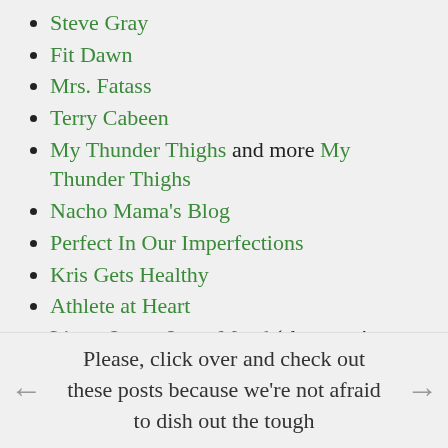Steve Gray
Fit Dawn
Mrs. Fatass
Terry Cabeen
My Thunder Thighs and more My Thunder Thighs
Nacho Mama's Blog
Perfect In Our Imperfections
Kris Gets Healthy
Athlete at Heart
Listen Learn Love Mend (she wasn't even there but she felt compelled to chime in -- booyah!)
Please, click over and check out these posts because we're not afraid to dish out the tough